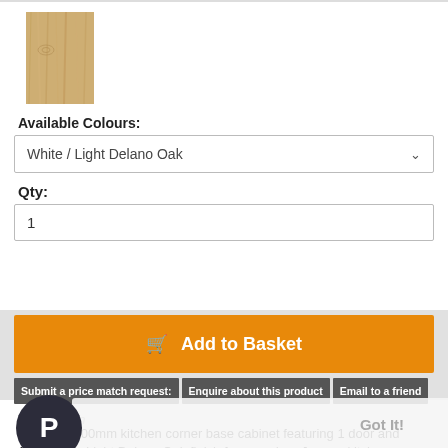[Figure (photo): Wood finish swatch showing Light Delano Oak texture]
Available Colours:
White / Light Delano Oak
Qty:
1
Add to Basket
Submit a price match request:
Enquire about this product
Email to a friend
This website uses cookies to ensure you get the best experience on our website
Got It!
Description
Modern 1000mm kitchen corner base cabinet featuring 1 door and 1 drawer in Light Delano Oak finish from modern Junona kitchen